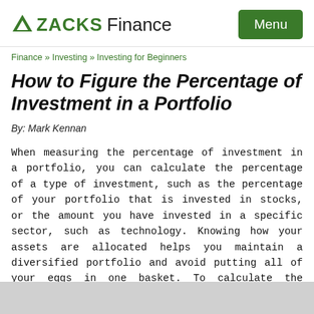ZACKS Finance — Menu
Finance » Investing » Investing for Beginners
How to Figure the Percentage of Investment in a Portfolio
By: Mark Kennan
When measuring the percentage of investment in a portfolio, you can calculate the percentage of a type of investment, such as the percentage of your portfolio that is invested in stocks, or the amount you have invested in a specific sector, such as technology. Knowing how your assets are allocated helps you maintain a diversified portfolio and avoid putting all of your eggs in one basket. To calculate the percentage of investment in your portfolio, you need to know the value of each of your investments.